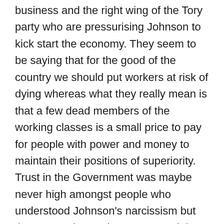business and the right wing of the Tory party who are pressurising Johnson to kick start the economy. They seem to be saying that for the good of the country we should put workers at risk of dying whereas what they really mean is that a few dead members of the working classes is a small price to pay for people with power and money to maintain their positions of superiority. Trust in the Government was maybe never high amongst people who understood Johnson's narcissism but there were times when we trusted that he was at least taking on good advice from the scientists. Now, it's not so clear as more and more experts are saying that the lockdown is being relaxed too soon. I am hiding away, safe in my garden and although every day is more or less the same, I used to feel that things would start improving at some point. Now it all looks like it's going to get worse and worse. In the end, we are all going to have to fend for